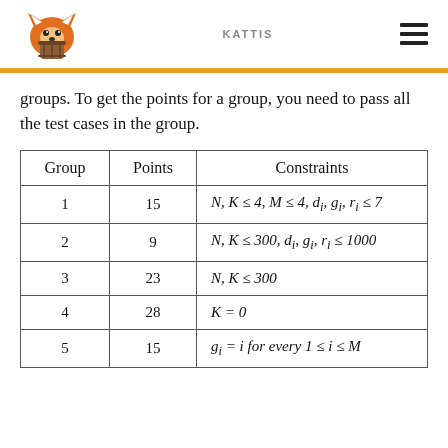KATTIS
groups. To get the points for a group, you need to pass all the test cases in the group.
| Group | Points | Constraints |
| --- | --- | --- |
| 1 | 15 | N, K ≤ 4, M ≤ 4, d_i, g_i, r_i ≤ 7 |
| 2 | 9 | N, K ≤ 300, d_i, g_i, r_i ≤ 1000 |
| 3 | 23 | N, K ≤ 300 |
| 4 | 28 | K = 0 |
| 5 | 15 | g_i = i for every 1 ≤ i ≤ M |